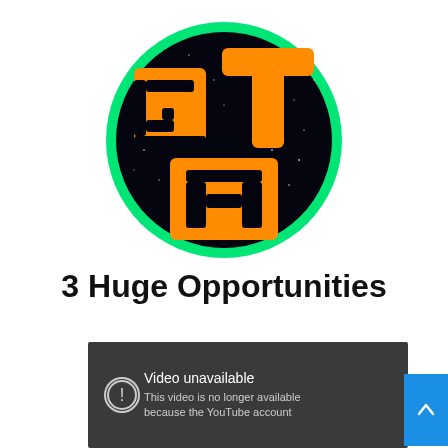[Figure (logo): GTA logo: circular badge with bright green border, black starry night sky background, and orange pixel-style letters 'GT' on top row and 'A' on bottom row]
3 Huge Opportunities
[Figure (screenshot): Video unavailable message on dark grey background. Shows exclamation icon in circle, text 'Video unavailable' and 'This video is no longer available because the YouTube account']
[Figure (other): Blue scroll-up button with white upward arrow]